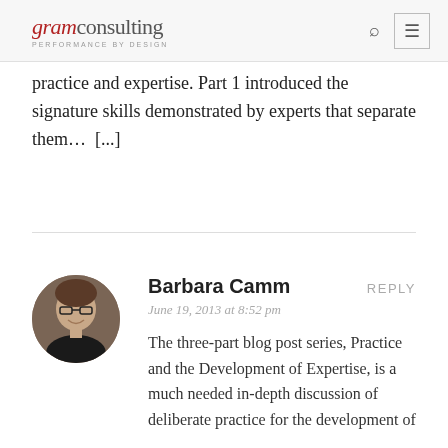gram consulting PERFORMANCE BY DESIGN
practice and expertise. Part 1 introduced the signature skills demonstrated by experts that separate them...  [...]
Barbara Camm
REPLY
June 19, 2013 at 8:52 pm
The three-part blog post series, Practice and the Development of Expertise, is a much needed in-depth discussion of deliberate practice for the development of